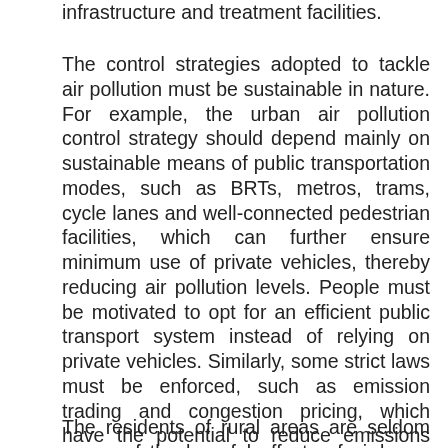infrastructure and treatment facilities.
The control strategies adopted to tackle air pollution must be sustainable in nature. For example, the urban air pollution control strategy should depend mainly on sustainable means of public transportation modes, such as BRTs, metros, trams, cycle lanes and well-connected pedestrian facilities, which can further ensure minimum use of private vehicles, thereby reducing air pollution levels. People must be motivated to opt for an efficient public transport system instead of relying on private vehicles. Similarly, some strict laws must be enforced, such as emission trading and congestion pricing, which have the potential to reduce emissions drastically. Apart from these, the use of alternate fuels and e-cars, e-bikes and hybrid vehicle types must be promoted by the government. All these measures could reduce city emissions significantly.
The residents of rural areas are seldom aware of the harmful effects of air-borne pollutants and their consequence to human health. Public